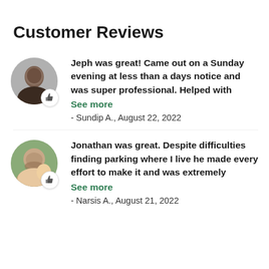Customer Reviews
[Figure (photo): Circular avatar photo of a smiling man with a thumbs up icon badge]
Jeph was great! Came out on a Sunday evening at less than a days notice and was super professional. Helped with
See more
- Sundip A., August 22, 2022
[Figure (photo): Circular avatar photo of a bearded man with a child, with a thumbs up icon badge]
Jonathan was great. Despite difficulties finding parking where I live he made every effort to make it and was extremely
See more
- Narsis A., August 21, 2022